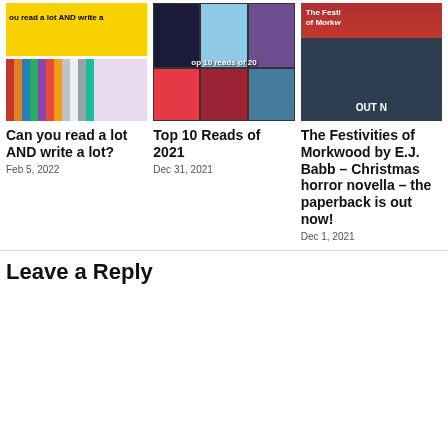[Figure (photo): Photo of books lined up on a yellow background, partly cropped with text 'ou read a lot AND write a' visible]
Can you read a lot AND write a lot?
Feb 5, 2022
[Figure (photo): Collage of book covers including 'Deity' and others, with text 'op 10 reads of 20' visible]
Top 10 Reads of 2021
Dec 31, 2021
[Figure (photo): Book cover for 'The Festivities of Morkwood' with red and dark teal design and text 'OUT N' visible]
The Festivities of Morkwood by E.J. Babb – Christmas horror novella – the paperback is out now!
Dec 1, 2021
Leave a Reply